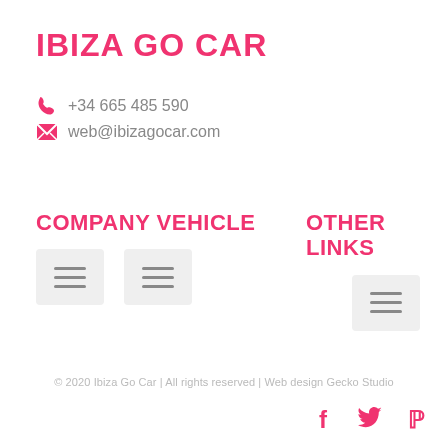IBIZA GO CAR
+34 665 485 590
web@ibizagocar.com
COMPANY VEHICLE
OTHER LINKS
[Figure (other): Hamburger menu toggle buttons (three rows of horizontal lines on grey background), two under Company Vehicle column and one under Other Links column]
© 2020 Ibiza Go Car | All rights reserved | Web design Gecko Studio
[Figure (other): Social media icons: Facebook (f), Twitter (bird), Pinterest (P) in pink/red color]